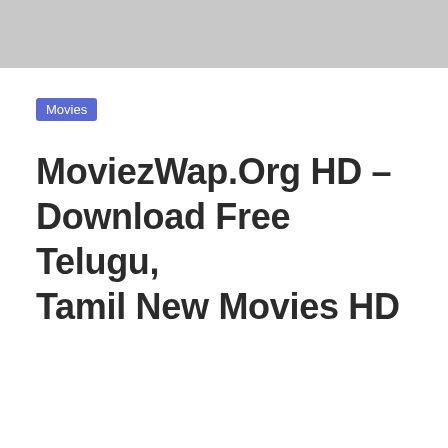Movies
MoviezWap.Org HD – Download Free Telugu, Tamil New Movies HD